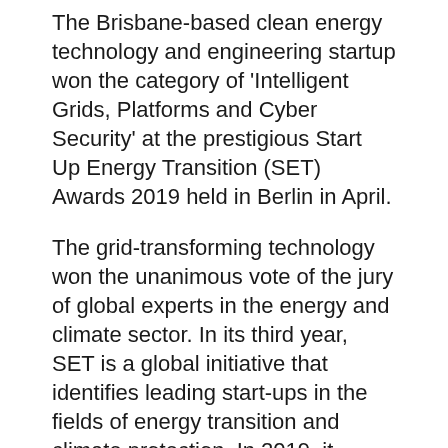The Brisbane-based clean energy technology and engineering startup won the category of 'Intelligent Grids, Platforms and Cyber Security' at the prestigious Start Up Energy Transition (SET) Awards 2019 held in Berlin in April.
The grid-transforming technology won the unanimous vote of the jury of global experts in the energy and climate sector. In its third year, SET is a global initiative that identifies leading start-ups in the fields of energy transition and climate protection. In 2019, it received 450 applications from 80 countries.
“The SET Award 2019 illustrates the depth of experience, commitment, and vision driving the innovators who will transform the future of energy. All the